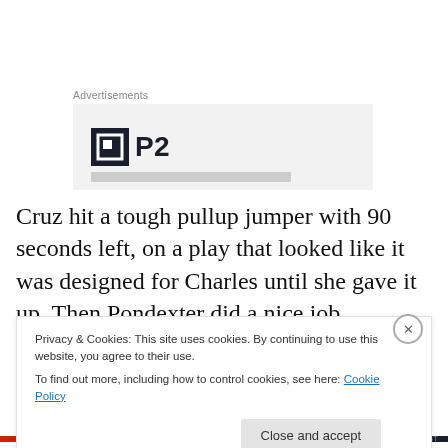Advertisements
[Figure (logo): Advertisement box with P2 logo — dark square icon with white border design and 'P2' text in bold dark lettering on light gray background]
Cruz hit a tough pullup jumper with 90 seconds left, on a play that looked like it was designed for Charles until she gave it up. Then Pondexter did a nice job containing Tiffany Hayes on a drive, but the offensive rebound was
Privacy & Cookies: This site uses cookies. By continuing to use this website, you agree to their use.
To find out more, including how to control cookies, see here: Cookie Policy
Close and accept